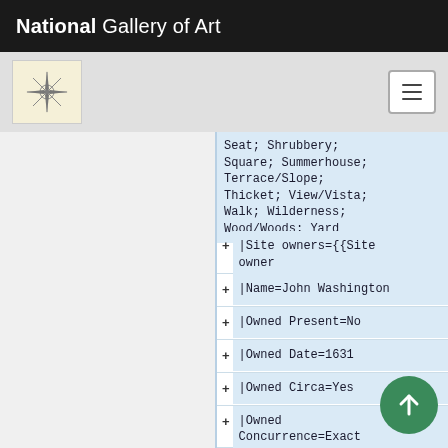National Gallery of Art
[Figure (logo): National Gallery of Art logo - compass/star design on cream background]
Seat; Shrubbery; Square; Summerhouse; Terrace/Slope; Thicket; View/Vista; Walk; Wilderness; Wood/Woods; Yard
|Site owners={{Site owner
|Name=John Washington
|Owned Present=No
|Owned Date=1631
|Owned Circa=Yes
|Owned Concurrence=Exact